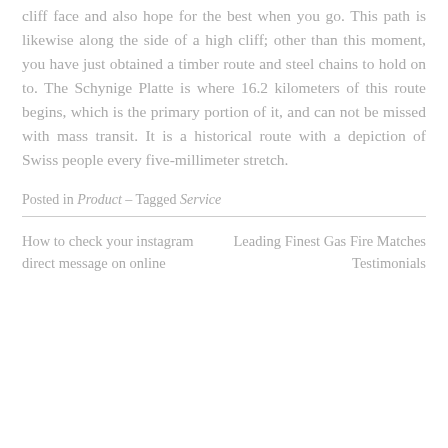cliff face and also hope for the best when you go. This path is likewise along the side of a high cliff; other than this moment, you have just obtained a timber route and steel chains to hold on to. The Schynige Platte is where 16.2 kilometers of this route begins, which is the primary portion of it, and can not be missed with mass transit. It is a historical route with a depiction of Swiss people every five-millimeter stretch.
Posted in Product – Tagged Service
How to check your instagram direct message on online
Leading Finest Gas Fire Matches Testimonials